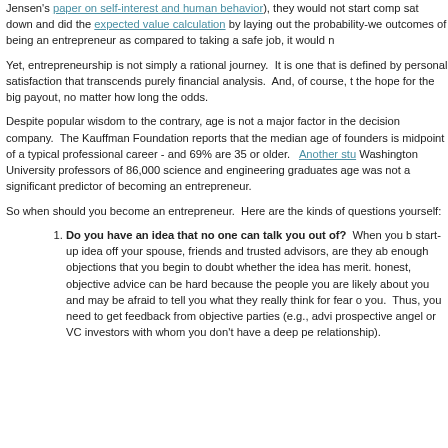Jensen's paper on self-interest and human behavior), they would not start comp... sat down and did the expected value calculation by laying out the probability-we... outcomes of being an entrepreneur as compared to taking a safe job, it would n...
Yet, entrepreneurship is not simply a rational journey. It is one that is defined by personal satisfaction that transcends purely financial analysis. And, of course, the hope for the big payout, no matter how long the odds.
Despite popular wisdom to the contrary, age is not a major factor in the decision... company. The Kauffman Foundation reports that the median age of founders is midpoint of a typical professional career - and 69% are 35 or older. Another stu... Washington University professors of 86,000 science and engineering graduates age was not a significant predictor of becoming an entrepreneur.
So when should you become an entrepreneur. Here are the kinds of questions yourself:
Do you have an idea that no one can talk you out of? When you b... start-up idea off your spouse, friends and trusted advisors, are they ab... enough objections that you begin to doubt whether the idea has merit. honest, objective advice can be hard because the people you are likely about you and may be afraid to tell you what they really think for fear o... you. Thus, you need to get feedback from objective parties (e.g., advi... prospective angel or VC investors with whom you don't have a deep pe... relationship).